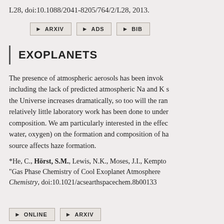L28, doi:10.1088/2041-8205/764/2/L28, 2013.
ARXIV
ADS
BIB
EXOPLANETS
The presence of atmospheric aerosols has been invoked to explain a number of observations, including the lack of predicted atmospheric Na and K signatures. As the number of known exoplanets in the Universe increases dramatically, so too will the range of their atmospheric compositions. Yet relatively little laboratory work has been done to understand the effect of host star on haze composition. We am particularly interested in the effect of atmospheric composition (methane, water, oxygen) on the formation and composition of hazes, and how the UV radiation source affects haze formation.
*He, C., Hörst, S.M., Lewis, N.K., Moses, J.I., Kempto... "Gas Phase Chemistry of Cool Exoplanet Atmospheres... Chemistry, doi:10.1021/acsearthspacechem.8b00133...
ONLINE
ARXIV